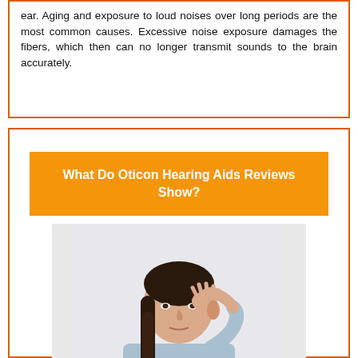ear. Aging and exposure to loud noises over long periods are the most common causes. Excessive noise exposure damages the fibers, which then can no longer transmit sounds to the brain accurately.
What Do Oticon Hearing Aids Reviews Show?
[Figure (photo): A woman with dark braided hair in a light blue shirt cupping her hand to her ear in a listening gesture, against a light grey/white background.]